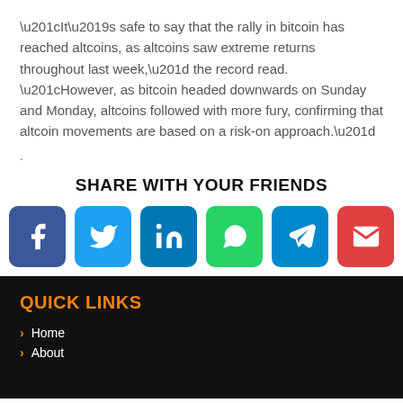“It’s safe to say that the rally in bitcoin has reached altcoins, as altcoins saw extreme returns throughout last week,” the record read. “However, as bitcoin headed downwards on Sunday and Monday, altcoins followed with more fury, confirming that altcoin movements are based on a risk-on approach.”
.
SHARE WITH YOUR FRIENDS
[Figure (infographic): Six social media share buttons: Facebook, Twitter, LinkedIn, WhatsApp, Telegram, Email]
QUICK LINKS
Home
About